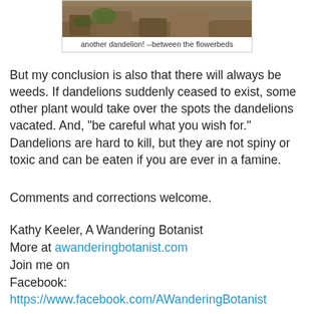[Figure (photo): Photo of dandelion between flowerbeds, partially cropped at top of page]
another dandelion!  --between the flowerbeds
But my conclusion is also that there will always be weeds. If dandelions suddenly ceased to exist, some other plant would take over the spots the dandelions vacated. And, "be careful what you wish for." Dandelions are hard to kill, but they are not spiny or toxic and can be eaten if you are ever in a famine.
Comments and corrections welcome.
Kathy Keeler, A Wandering Botanist
More at awanderingbotanist.com
Join me on
Facebook: https://www.facebook.com/AWanderingBotanist